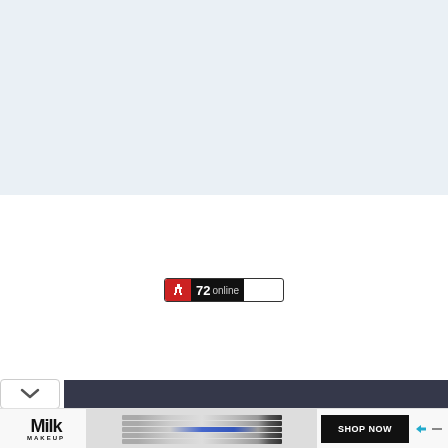[Figure (screenshot): Light blue-grey background area at top of page, appears to be a webpage content area placeholder]
[Figure (screenshot): White background area in the middle of the page]
[Figure (infographic): Small online badge widget with red icon showing a walking person figure, black background with '72 online' text]
[Figure (screenshot): Browser UI element: chevron/collapse button on left and dark navigation bar on right]
[Figure (screenshot): Advertisement banner for Milk Makeup brand showing mascara/eyeliner pencils and a SHOP NOW button]